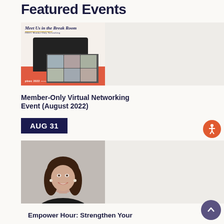Featured Events
[Figure (photo): Networking virtual event promotional image showing a laptop with multiple video call participants on screen, coral/red background bar at bottom, text 'Meet Us in the Break Room' and 'PBWC Member-Only Networking']
Member-Only Virtual Networking Event (August 2022)
AUG 31
[Figure (photo): Professional headshot of a young woman with long dark brown hair, smiling, wearing a dark top, light background]
Empower Hour: Strengthen Your